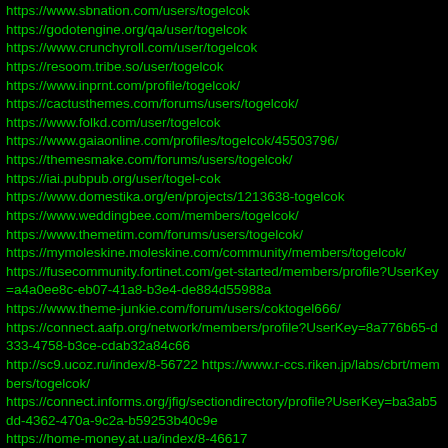https://www.sbnation.com/users/togelcok
https://godotengine.org/qa/user/togelcok
https://www.crunchyroll.com/user/togelcok
https://resoom.tribe.so/user/togelcok
https://www.inprnt.com/profile/togelcok/
https://cactusthemes.com/forums/users/togelcok/
https://www.folkd.com/user/togelcok
https://www.gaiaonline.com/profiles/togelcok/45503796/
https://themesmake.com/forums/users/togelcok/
https://iai.pubpub.org/user/togel-cok
https://www.domestika.org/en/projects/1213638-togelcok
https://www.weddingbee.com/members/togelcok/
https://www.themetim.com/forums/users/togelcok/
https://mymoleskine.moleskine.com/community/members/togelcok/
https://fusecommunity.fortinet.com/get-started/members/profile?UserKey=a4a0ee8c-eb07-41a8-b3e4-de884d55988a
https://www.theme-junkie.com/forum/users/coktogel666/
https://connect.aafp.org/network/members/profile?UserKey=8a776b65-d333-4758-b3ce-cdab32a84c66
http://sc9.ucoz.ru/index/8-56722 https://www.r-ccs.riken.jp/labs/cbrt/members/togelcok/
https://connect.informs.org/jfig/sectiondirectory/profile?UserKey=ba3ab5dd-4362-470a-9c2a-b59253b40c9e
https://home-money.at.ua/index/8-46617
https://community.serif.com/profile/180589/togelcok